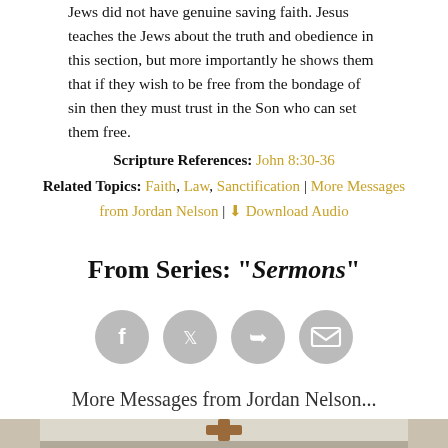Jews did not have genuine saving faith. Jesus teaches the Jews about the truth and obedience in this section, but more importantly he shows them that if they wish to be free from the bondage of sin then they must trust in the Son who can set them free.
Scripture References: John 8:30-36
Related Topics: Faith, Law, Sanctification | More Messages from Jordan Nelson | Download Audio
From Series: "Sermons"
[Figure (other): Four social sharing icon buttons (Facebook, Twitter, Share/Forward, Email) as gray circles with white icons]
More Messages from Jordan Nelson...
[Figure (photo): Interior of a church sanctuary with a wooden cross on the wall behind a podium, pews with attendees visible in the foreground]